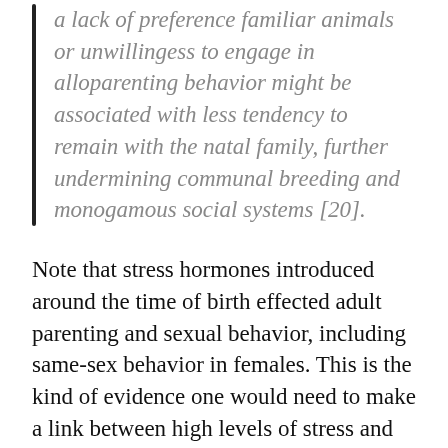a lack of preference familiar animals or unwillingess to engage in alloparenting behavior might be associated with less tendency to remain with the natal family, further undermining communal breeding and monogamous social systems [20].
Note that stress hormones introduced around the time of birth effected adult parenting and sexual behavior, including same-sex behavior in females. This is the kind of evidence one would need to make a link between high levels of stress and later sexual behavior. There is nothing here that provides direct support for the developmental scheme of reparative drive